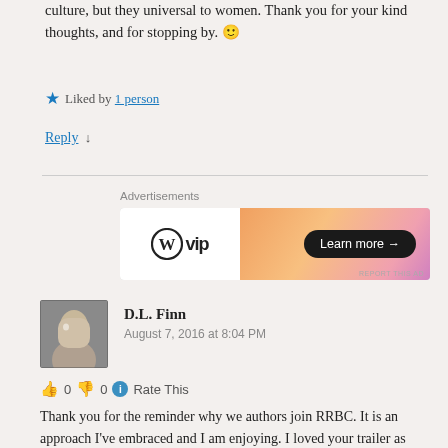culture, but they universal to women. Thank you for your kind thoughts, and for stopping by. 🙂
★ Liked by 1 person
Reply ↓
Advertisements
[Figure (logo): WordPress VIP advertisement banner with orange gradient background and 'Learn more →' button]
D.L. Finn
August 7, 2016 at 8:04 PM
👍 0 👎 0 ℹ Rate This
Thank you for the reminder why we authors join RRBC. It is an approach I've embraced and I am enjoying. I loved your trailer as well as entire post. I look forward to reading your book and added it to my